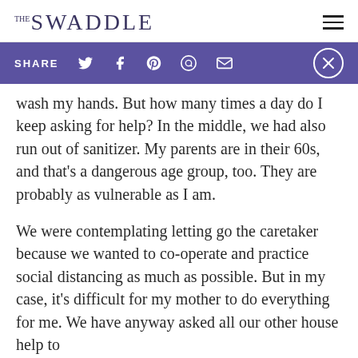THE SWADDLE
[Figure (other): Social share bar with SHARE label and icons for Twitter, Facebook, Pinterest, WhatsApp, Email, and a close (X) button on purple background]
wash my hands. But how many times a day do I keep asking for help? In the middle, we had also run out of sanitizer. My parents are in their 60s, and that's a dangerous age group, too. They are probably as vulnerable as I am.
We were contemplating letting go the caretaker because we wanted to co-operate and practice social distancing as much as possible. But in my case, it's difficult for my mother to do everything for me. We have anyway asked all our other house help to